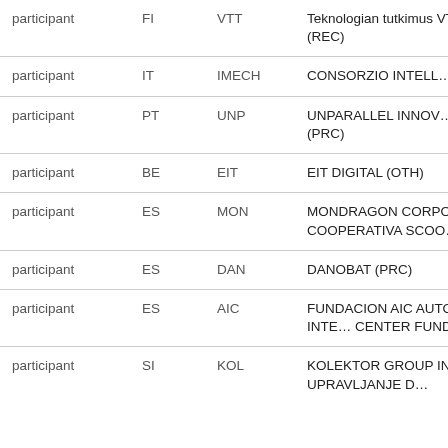| Role | Country | Short name | Organisation |
| --- | --- | --- | --- |
| participant | FI | VTT | Teknologian tutkimus VTT Oy (REC) |
| participant | IT | IMECH | CONSORZIO INTELL… (REC) |
| participant | PT | UNP | UNPARALLEL INNOV… LDA (PRC) |
| participant | BE | EIT | EIT DIGITAL (OTH) |
| participant | ES | MON | MONDRAGON CORPORACION COOPERATIVA SCOO… |
| participant | ES | DAN | DANOBAT (PRC) |
| participant | ES | AIC | FUNDACION AIC AUTOMOTIVE INTE… CENTER FUNDAZIOA… |
| participant | SI | KOL | KOLEKTOR GROUP IN UPRAVLJANJE D… |